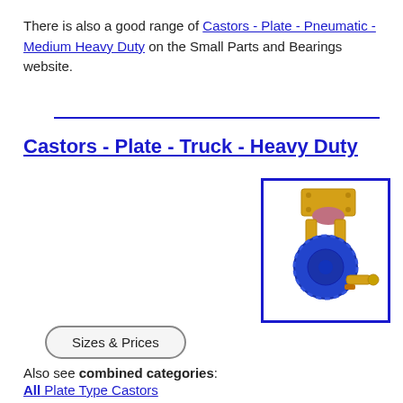There is also a good range of Castors - Plate - Pneumatic - Medium Heavy Duty on the Small Parts and Bearings website.
[Figure (photo): Photo of a heavy duty plate castor with blue rubber wheel, gold/yellow metal plate and brake mechanism, shown against white background, enclosed in blue border.]
Castors - Plate - Truck - Heavy Duty
Sizes & Prices
Also see combined categories:
All Plate Type Castors